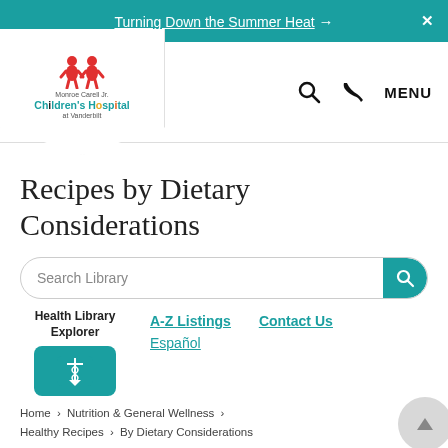Turning Down the Summer Heat →
[Figure (logo): Monroe Carell Jr. Children's Hospital at Vanderbilt logo with red gingerbread figures icon]
Recipes by Dietary Considerations
Search Library
Health Library Explorer
A-Z Listings
Contact Us
Español
Home > Nutrition & General Wellness > Healthy Recipes > By Dietary Considerations